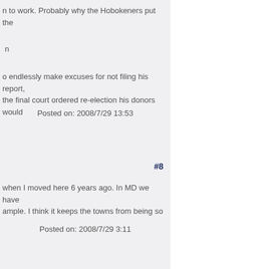to work. Probably why the Hobokeners put the
n
o endlessly make excuses for not filing his report, the final court ordered re-election his donors would
Posted on: 2008/7/29 13:53
#8
when I moved here 6 years ago. In MD we have ample. I think it keeps the towns from being so
Posted on: 2008/7/29 3:11